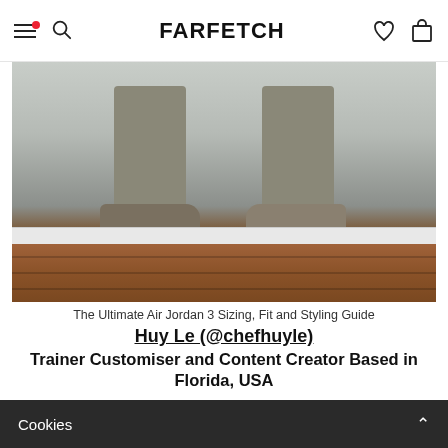FARFETCH
[Figure (photo): Lower body of a person wearing khaki trousers and grey/olive Air Jordan 3 sneakers, standing on a wooden floor against a light grey wall]
The Ultimate Air Jordan 3 Sizing, Fit and Styling Guide
Huy Le (@chefhuyle)
Trainer Customiser and Content Creator Based in Florida, USA
When I think of iconic trainer silhouettes, one of
Cookies